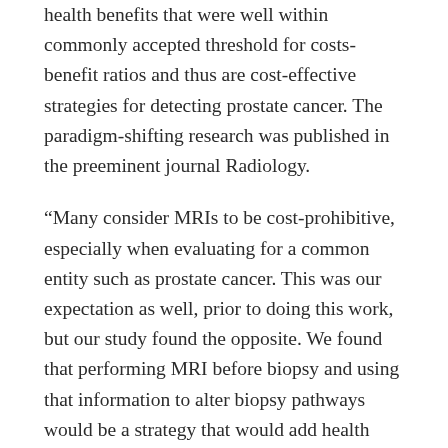health benefits that were well within commonly accepted threshold for costs-benefit ratios and thus are cost-effective strategies for detecting prostate cancer. The paradigm-shifting research was published in the preeminent journal Radiology.
“Many consider MRIs to be cost-prohibitive, especially when evaluating for a common entity such as prostate cancer. This was our expectation as well, prior to doing this work, but our study found the opposite. We found that performing MRI before biopsy and using that information to alter biopsy pathways would be a strategy that would add health benefits to the patient population in a cost effective manner,” said Vikas Gulani, study